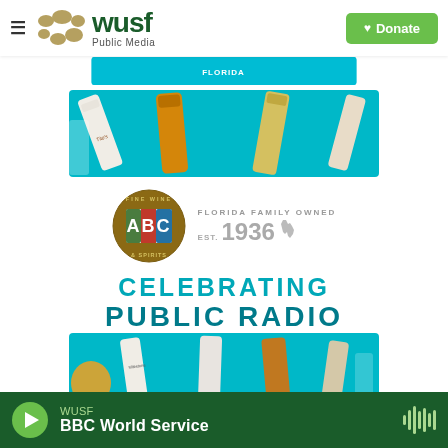WUSF Public Media | Donate
[Figure (photo): Top banner advertisement with teal/cyan background]
[Figure (photo): Advertisement image showing liquor bottles (Tito's, Macallan, and others) on teal background]
[Figure (infographic): ABC Fine Wine & Spirits advertisement. Logo with ABC letters (A=green, B=red, C=blue) surrounded by circular badge text 'Fine Wine & Spirits'. Text reads: FLORIDA FAMILY OWNED EST. 1936. CELEBRATING PUBLIC RADIO]
[Figure (photo): Advertisement image showing liquor bottles (Milestone and others) on teal background]
WUSF BBC World Service